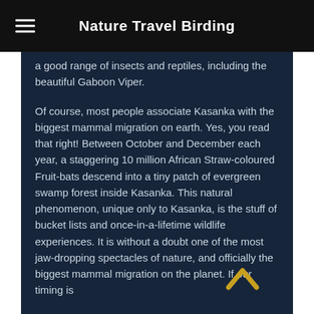Nature Travel Birding
a good range of insects and reptiles, including the beautiful Gaboon Viper.
Of course, most people associate Kasanka with the biggest mammal migration on earth. Yes, you read that right! Between October and December each year, a staggering 10 million African Straw-coloured Fruit-bats descend into a tiny patch of evergreen swamp forest inside Kasanka. This natural phenomenon, unique only to Kasanka, is the stuff of bucket lists and once-in-a-lifetime wildlife experiences. It is without a doubt one of the most jaw-dropping spectacles of nature, and officially the biggest mammal migration on the planet. If our timing is